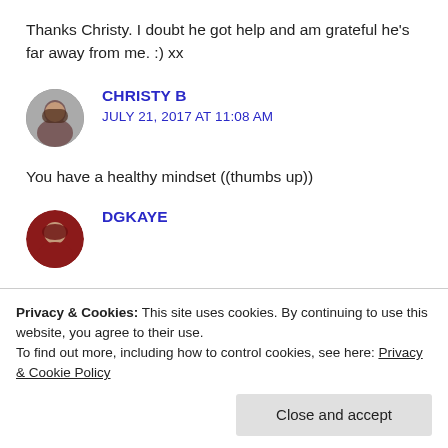Thanks Christy. I doubt he got help and am grateful he's far away from me. :) xx
CHRISTY B
JULY 21, 2017 AT 11:08 AM
You have a healthy mindset ((thumbs up))
DGKAYE
Privacy & Cookies: This site uses cookies. By continuing to use this website, you agree to their use. To find out more, including how to control cookies, see here: Privacy & Cookie Policy
Close and accept